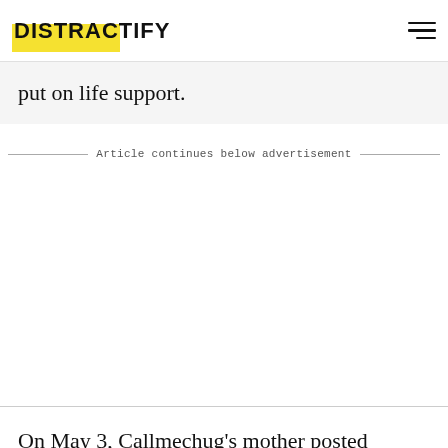DISTRACTIFY
put on life support.
Article continues below advertisement
On May 3, Callmechug's mother posted several heart-